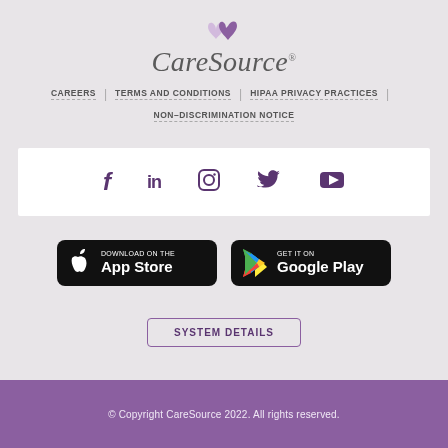[Figure (logo): CareSource logo with purple heart icon and italic serif text]
CAREERS | TERMS AND CONDITIONS | HIPAA PRIVACY PRACTICES | NON-DISCRIMINATION NOTICE
[Figure (infographic): Social media icons: Facebook, LinkedIn, Instagram, Twitter, YouTube in purple on white bar]
[Figure (infographic): Download on the App Store and GET IT ON Google Play buttons]
SYSTEM DETAILS
© Copyright CareSource 2022. All rights reserved.